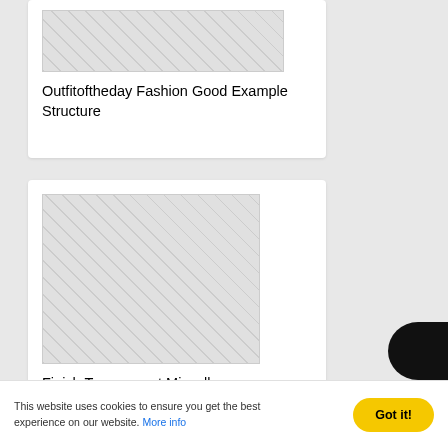[Figure (other): Thumbnail placeholder image with checkerboard pattern for Outfitoftheday Fashion Good Example Structure]
Outfitoftheday Fashion Good Example Structure
[Figure (other): Large thumbnail placeholder image with checkerboard pattern for Finish Transparent Miscellaneous Traduction Miscellaneous]
Finish Transparent Miscellaneous Traduction Miscellaneous
This website uses cookies to ensure you get the best experience on our website. More info
Got it!